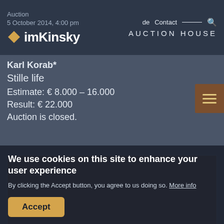Auction | de  Contact  [search] | imKinsky  AUCTION HOUSE
5 October 2014, 4:00 pm
Karl Korab*
Stille life
Estimate: € 8.000 – 16.000
Result: € 22.000
Auction is closed.
[Figure (photo): Painting by Karl Korab showing a still life with various objects including bottles, utensils and geometric shapes on a dark background.]
We use cookies on this site to enhance your user experience
By clicking the Accept button, you agree to us doing so. More info
Accept